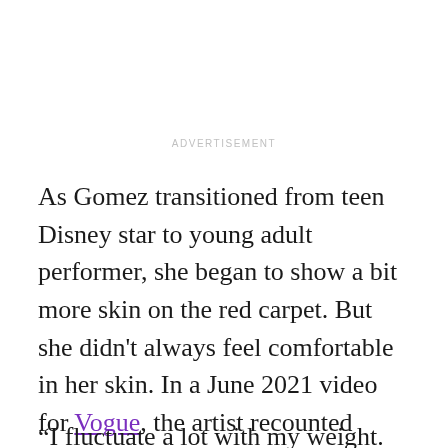ADVERTISEMENT
As Gomez transitioned from teen Disney star to young adult performer, she began to show a bit more skin on the red carpet. But she didn't always feel comfortable in her skin. In a June 2021 video for Vogue, the artist recounted some of her best looks, including one that led to her discussing her weight.
“I fluctuate a lot with my weight. And I